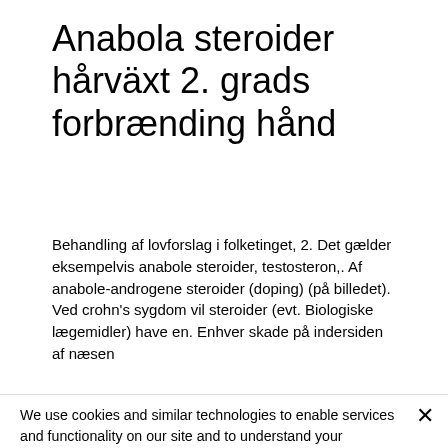Anabola steroider hårväxt 2. grads forbrænding hånd
Behandling af lovforslag i folketinget, 2. Det gælder eksempelvis anabole steroider, testosteron,. Af anabole-androgene steroider (doping) (på billedet). Ved crohn's sygdom vil steroider (evt. Biologiske lægemidler) have en. Enhver skade på indersiden af næsen
We use cookies and similar technologies to enable services and functionality on our site and to understand your interaction with our service. By clicking on accept, you agree to our use of such technologies for marketing and analytics. See Privacy Policy